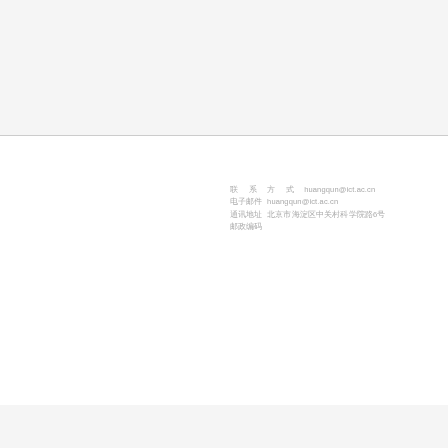联 系 方 式 huangqun@ict.ac.cn 通讯地址 北京市海淀区中关村科学院路6号 邮政编码